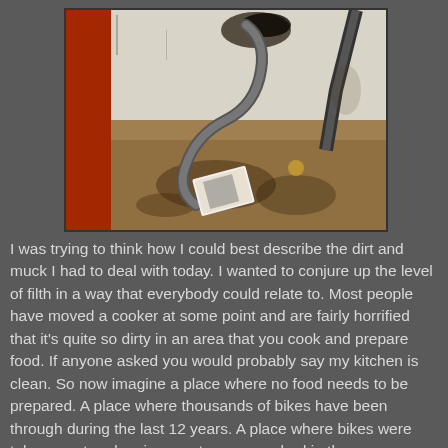[Figure (photo): A dirty room or closet corner with a hose/cable coiled on a filthy, stained floor. There is a red door or panel on the left, burn marks or dark stains on the wall near the top. A magazine or book lies on the dirty floor.]
I was trying to think how I could best describe the dirt and muck I had to deal with today. I wanted to conjure up the level of filth in a way that everybody could relate to. Most people have moved a cooker at some point and are fairly horrified that it's quite so dirty in an area that you cook and prepare food. If anyone asked you would probably say my kitchen is clean. So now imagine a place where no food needs to be prepared. A place where thousands of bikes have been through during the last 12 years. A place where bikes were taken apart and various parts were washed in the